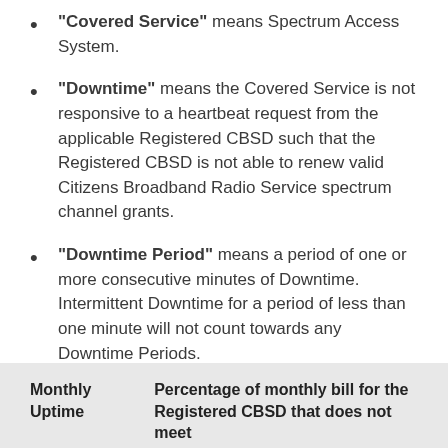"Covered Service" means Spectrum Access System.
"Downtime" means the Covered Service is not responsive to a heartbeat request from the applicable Registered CBSD such that the Registered CBSD is not able to renew valid Citizens Broadband Radio Service spectrum channel grants.
"Downtime Period" means a period of one or more consecutive minutes of Downtime. Intermittent Downtime for a period of less than one minute will not count towards any Downtime Periods.
"Financial Credit" means the following:
| Monthly Uptime | Percentage of monthly bill for the Registered CBSD that does not meet |
| --- | --- |